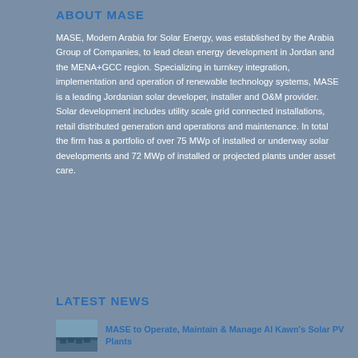ABOUT MASE
MASE, Modern Arabia for Solar Energy, was established by the Arabia Group of Companies, to lead clean energy development in Jordan and the MENA+GCC region. Specializing in turnkey integration, implementation and operation of renewable technology systems, MASE is a leading Jordanian solar developer, installer and O&M provider. Solar development includes utility scale grid connected installations, retail distributed generation and operations and maintenance. In total the firm has a portfolio of over 75 MWp of installed or underway solar developments and 72 MWp of installed or projected plants under asset care.
LATEST NEWS
[Figure (photo): Thumbnail photo of solar PV plant landscape]
MASE to Operate, Maintain & Manage Al Kawn's Solar PV Plants